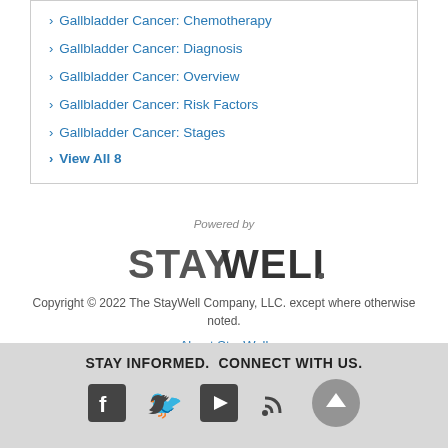Gallbladder Cancer: Chemotherapy
Gallbladder Cancer: Diagnosis
Gallbladder Cancer: Overview
Gallbladder Cancer: Risk Factors
Gallbladder Cancer: Stages
View All 8
Powered by
[Figure (logo): StayWell logo in gray block letters]
Copyright © 2022 The StayWell Company, LLC. except where otherwise noted.
About StayWell
STAY INFORMED.  CONNECT WITH US.